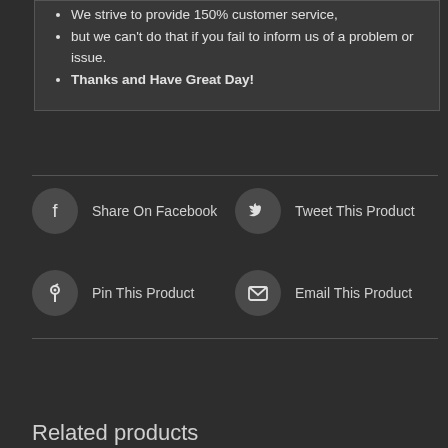We strive to provide 150% customer service,
but we can't do that if you fail to inform us of a problem or issue.
Thanks and Have Great Day!
Share On Facebook
Tweet This Product
Pin This Product
Email This Product
Related products